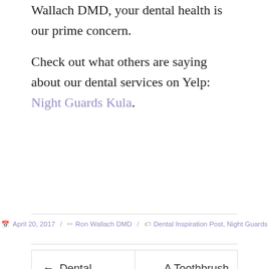Wallach DMD, your dental health is our prime concern.
Check out what others are saying about our dental services on Yelp: Night Guards Kula.
April 20, 2017 / Ron Wallach DMD / Dental Inspiration Post, Night Guards
← Dental Accidents
A Toothbrush Cannot Repair